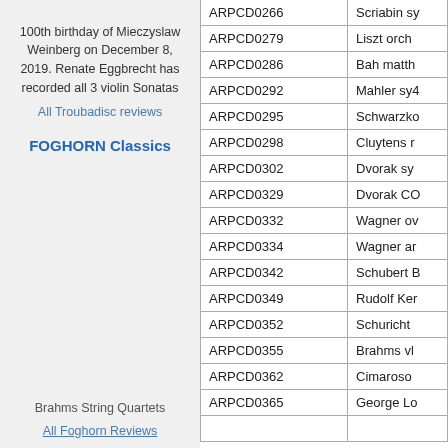100th birthday of Mieczyslaw Weinberg on December 8, 2019. Renate Eggbrecht has recorded all 3 violin Sonatas
All Troubadisc reviews
FOGHORN Classics
Brahms String Quartets
All Foghorn Reviews
| Catalog ID | Description |
| --- | --- |
| ARPCD0266 | Scriabin sy |
| ARPCD0279 | Liszt orch |
| ARPCD0286 | Bah matth |
| ARPCD0292 | Mahler sy4 |
| ARPCD0295 | Schwarzko |
| ARPCD0298 | Cluytens r |
| ARPCD0302 | Dvorak sy |
| ARPCD0329 | Dvorak CO |
| ARPCD0332 | Wagner ov |
| ARPCD0334 | Wagner ar |
| ARPCD0342 | Schubert B |
| ARPCD0349 | Rudolf Ker |
| ARPCD0352 | Schuricht |
| ARPCD0355 | Brahms vl |
| ARPCD0362 | Cimaroso |
| ARPCD0365 | George Lo |